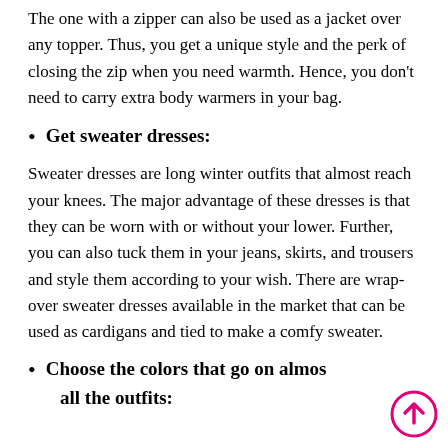The one with a zipper can also be used as a jacket over any topper. Thus, you get a unique style and the perk of closing the zip when you need warmth. Hence, you don't need to carry extra body warmers in your bag.
Get sweater dresses:
Sweater dresses are long winter outfits that almost reach your knees. The major advantage of these dresses is that they can be worn with or without your lower. Further, you can also tuck them in your jeans, skirts, and trousers and style them according to your wish. There are wrap-over sweater dresses available in the market that can be used as cardigans and tied to make a comfy sweater.
Choose the colors that go on almost all the outfits: